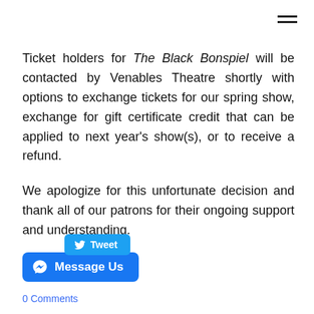[Figure (other): Hamburger menu icon (three horizontal lines) in top-right corner]
Ticket holders for The Black Bonspiel will be contacted by Venables Theatre shortly with options to exchange tickets for our spring show, exchange for gift certificate credit that can be applied to next year's show(s), or to receive a refund.
We apologize for this unfortunate decision and thank all of our patrons for their ongoing support and understanding.
[Figure (screenshot): Tweet button (blue) and Message Us button (blue Facebook Messenger style) at bottom left, with 0 Comments link below]